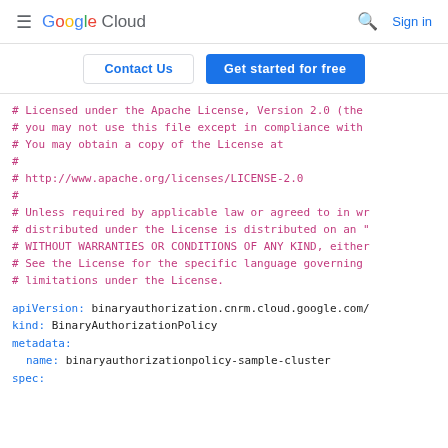Google Cloud  Search  Sign in
Contact Us  Get started for free
# Licensed under the Apache License, Version 2.0 (the
# you may not use this file except in compliance with
# You may obtain a copy of the License at
#
#     http://www.apache.org/licenses/LICENSE-2.0
#
# Unless required by applicable law or agreed to in wr
# distributed under the License is distributed on an "
# WITHOUT WARRANTIES OR CONDITIONS OF ANY KIND, either
# See the License for the specific language governing
# limitations under the License.
apiVersion: binaryauthorization.cnrm.cloud.google.com/
kind: BinaryAuthorizationPolicy
metadata:
  name: binaryauthorizationpolicy-sample-cluster
spec: